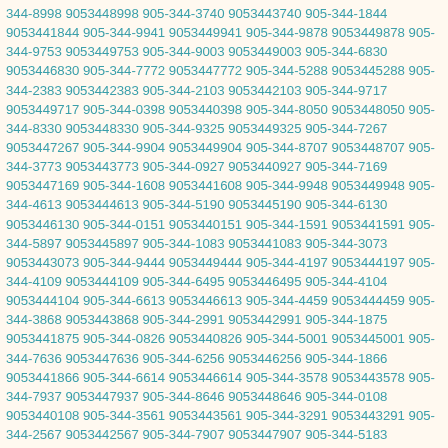344-8998 9053448998 905-344-3740 9053443740 905-344-1844 9053441844 905-344-9941 9053449941 905-344-9878 9053449878 905-344-9753 9053449753 905-344-9003 9053449003 905-344-6830 9053446830 905-344-7772 9053447772 905-344-5288 9053445288 905-344-2383 9053442383 905-344-2103 9053442103 905-344-9717 9053449717 905-344-0398 9053440398 905-344-8050 9053448050 905-344-8330 9053448330 905-344-9325 9053449325 905-344-7267 9053447267 905-344-9904 9053449904 905-344-8707 9053448707 905-344-3773 9053443773 905-344-0927 9053440927 905-344-7169 9053447169 905-344-1608 9053441608 905-344-9948 9053449948 905-344-4613 9053444613 905-344-5190 9053445190 905-344-6130 9053446130 905-344-0151 9053440151 905-344-1591 9053441591 905-344-5897 9053445897 905-344-1083 9053441083 905-344-3073 9053443073 905-344-9444 9053449444 905-344-4197 9053444197 905-344-4109 9053444109 905-344-6495 9053446495 905-344-4104 9053444104 905-344-6613 9053446613 905-344-4459 9053444459 905-344-3868 9053443868 905-344-2991 9053442991 905-344-1875 9053441875 905-344-0826 9053440826 905-344-5001 9053445001 905-344-7636 9053447636 905-344-6256 9053446256 905-344-1866 9053441866 905-344-6614 9053446614 905-344-3578 9053443578 905-344-7937 9053447937 905-344-8646 9053448646 905-344-0108 9053440108 905-344-3561 9053443561 905-344-3291 9053443291 905-344-2567 9053442567 905-344-7907 9053447907 905-344-5183 9053445183 905-344-2373 9053442373 905-344-0157 9053440157 905-344-4075 9053444075 905-344-1131 9053441131 905-344-7141 9053447141 905-344-5861 9053445861 905-344-7938 9053447938 905-344-6337 9053446337 905-344-5853 9053445853 905-344-8388